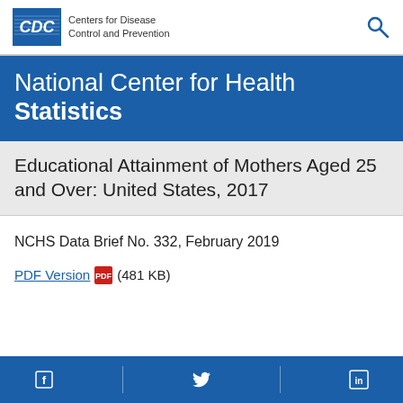CDC Centers for Disease Control and Prevention
National Center for Health Statistics
Educational Attainment of Mothers Aged 25 and Over: United States, 2017
NCHS Data Brief No. 332, February 2019
PDF Version (481 KB)
Facebook Twitter LinkedIn